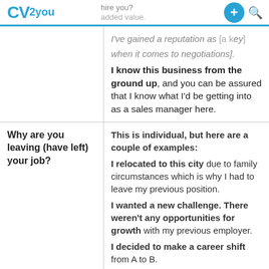hire you? CV2you added value. I've gained a reputation as [a key player] when it comes to negotiations].
| Why are you leaving (have left) your job? | This is individual, but here are a couple of examples:

I relocated to this city due to family circumstances which is why I had to leave my previous position.
I wanted a new challenge. There weren't any opportunities for growth with my previous employer.
I decided to make a career shift from A to B.
I needed a different work schedule.
My ideal employer type company turns out not to be A [say corporation] but B [let's |